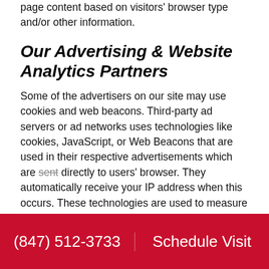page content based on visitors' browser type and/or other information.
Our Advertising & Website Analytics Partners
Some of the advertisers on our site may use cookies and web beacons. Third-party ad servers or ad networks uses technologies like cookies, JavaScript, or Web Beacons that are used in their respective advertisements which are sent directly to users' browser. They automatically receive your IP address when this occurs. These technologies are used to measure the effectiveness of their advertising campaigns and/or to personalize the advertising content that you see on websites that you visit.
Note that Bogdan Company has no access to or control over these cookies that are used by third-party advertisers.
(847) 512-3733   Schedule Visit